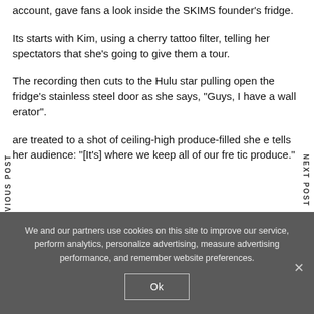account, gave fans a look inside the SKIMS founder's fridge.
Its starts with Kim, using a cherry tattoo filter, telling her spectators that she's going to give them a tour.
The recording then cuts to the Hulu star pulling open the fridge's stainless steel door as she says, "Guys, I have a wall erator".
are treated to a shot of ceiling-high produce-filled she e tells her audience: "[It's] where we keep all of our fre tic produce."
PREVIOUS POST
NEXT POST
We and our partners use cookies on this site to improve our service, perform analytics, personalize advertising, measure advertising performance, and remember website preferences.